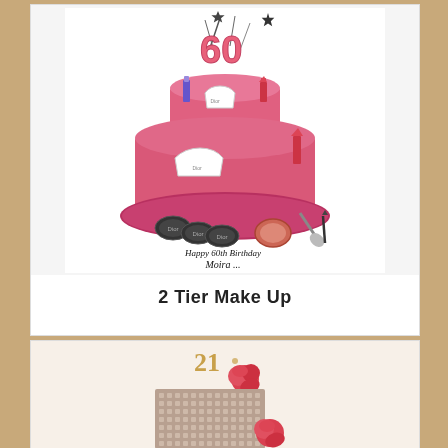[Figure (photo): Two-tier pink birthday cake decorated with makeup items (nail polish, lipstick, makeup brushes, eyeshadow palettes, compact powder), topped with pink '60' number decorations and star wand picks. Text on cake reads 'Happy 60th Birthday Moira...']
2 Tier Make Up
[Figure (photo): Square cake with textured metallic/rhinestone pattern covering exterior, topped with gold '21' number topper and red/coral roses as decoration.]